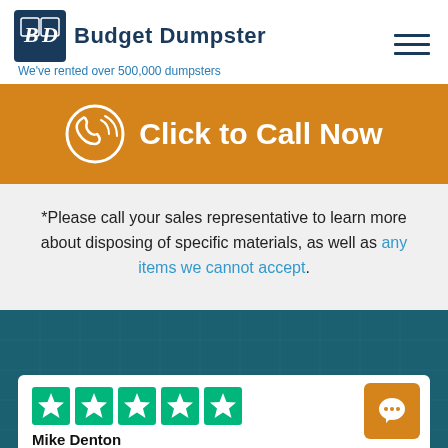Budget Dumpster — We've rented over 500,000 dumpsters
[Figure (infographic): Orange CTA banner with phone icon circle and text 'Click to Call Now']
*Please call your sales representative to learn more about disposing of specific materials, as well as any items we cannot accept.
[Figure (infographic): Teal grid background section with a review card showing 5 green Trustpilot stars and reviewer name Mike Denton, plus an orange chat button]